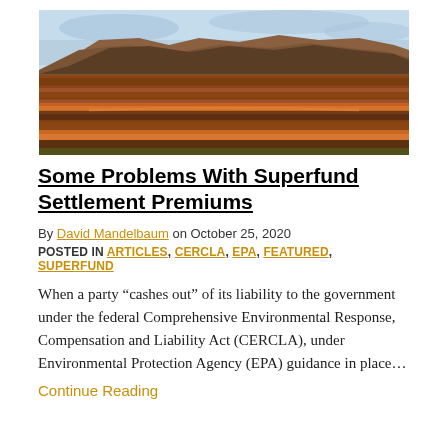[Figure (photo): Aerial view of an open-pit mine with red/orange terraced earth layers and rocky mesa in background under blue sky]
Some Problems With Superfund Settlement Premiums
By David Mandelbaum on October 25, 2020
POSTED IN ARTICLES, CERCLA, EPA, FEATURED, SUPERFUND
When a party “cashes out” of its liability to the government under the federal Comprehensive Environmental Response, Compensation and Liability Act (CERCLA), under Environmental Protection Agency (EPA) guidance in place...
Continue Reading